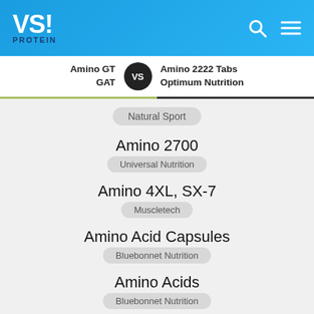VS! PROTEIN
Amino GT | GAT VS Amino 2222 Tabs | Optimum Nutrition
Natural Sport
Amino 2700 | Universal Nutrition
Amino 4XL, SX-7 | Muscletech
Amino Acid Capsules | Bluebonnet Nutrition
Amino Acids | Bluebonnet Nutrition
Amino Athlete | Source Naturals
Amino Build Next Gen